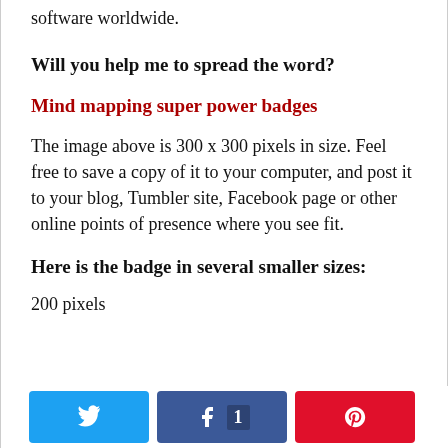software worldwide.
Will you help me to spread the word?
Mind mapping super power badges
The image above is 300 x 300 pixels in size. Feel free to save a copy of it to your computer, and post it to your blog, Tumbler site, Facebook page or other online points of presence where you see fit.
Here is the badge in several smaller sizes:
200 pixels
[Figure (other): Social sharing buttons: Twitter, Facebook (with count 1), Pinterest]